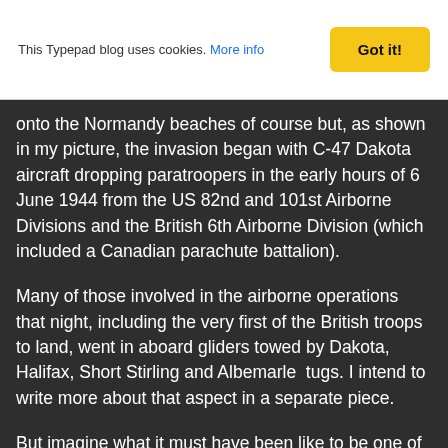This Typepad blog uses cookies. More info | Got it!
onto the Normandy beaches of course but, as shown in my picture, the invasion began with C-47 Dakota aircraft dropping paratroopers in the early hours of 6 June 1944 from the US 82nd and 101st Airborne Divisions and the British 6th Airborne Division (which included a Canadian parachute battalion).
Many of those involved in the airborne operations that night, including the very first of the British troops to land, went in aboard gliders towed by Dakota, Halifax, Short Stirling and Albemarle  tugs. I intend to write more about that aspect in a separate piece.
But imagine what it must have been like to be one of those thousands of paratroopers - laden with their own weight again in parachute packs, arms and other equipment - jumping into the dark with flak shells and bullets ripping through the air around them, sometimes